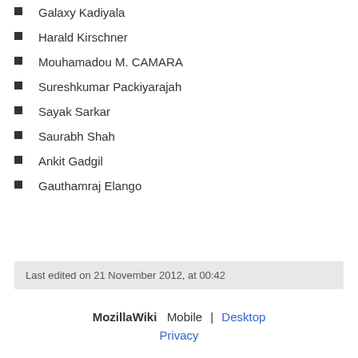Galaxy Kadiyala
Harald Kirschner
Mouhamadou M. CAMARA
Sureshkumar Packiyarajah
Sayak Sarkar
Saurabh Shah
Ankit Gadgil
Gauthamraj Elango
Last edited on 21 November 2012, at 00:42
MozillaWiki  Mobile  |  Desktop
Privacy